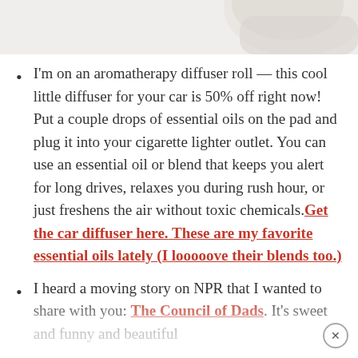[Figure (photo): Partial cropped image of an aromatherapy diffuser product, light gray/white background, top portion only visible]
I'm on an aromatherapy diffuser roll — this cool little diffuser for your car is 50% off right now! Put a couple drops of essential oils on the pad and plug it into your cigarette lighter outlet. You can use an essential oil or blend that keeps you alert for long drives, relaxes you during rush hour, or just freshens the air without toxic chemicals. Get the car diffuser here. These are my favorite essential oils lately (I looooove their blends too.)
I heard a moving story on NPR that I wanted to share with you: The Council of Dads. It's sweet and funny and beautiful